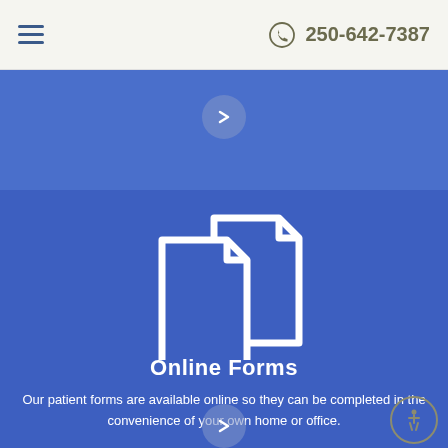≡  250-642-7387
[Figure (illustration): Blue banner section with right-arrow navigation button]
[Figure (illustration): Two overlapping document/form icons in white on blue background representing online forms]
Online Forms
Our patient forms are available online so they can be completed in the convenience of your own home or office.